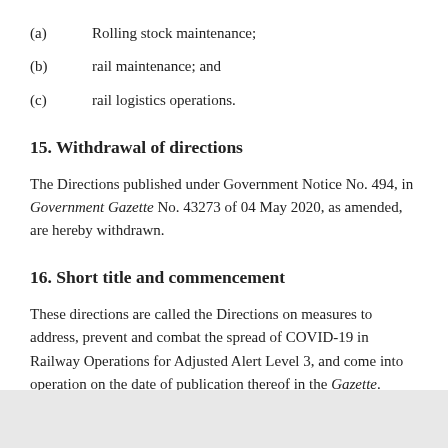(a) Rolling stock maintenance;
(b) rail maintenance; and
(c) rail logistics operations.
15. Withdrawal of directions
The Directions published under Government Notice No. 494, in Government Gazette No. 43273 of 04 May 2020, as amended, are hereby withdrawn.
16. Short title and commencement
These directions are called the Directions on measures to address, prevent and combat the spread of COVID-19 in Railway Operations for Adjusted Alert Level 3, and come into operation on the date of publication thereof in the Gazette.